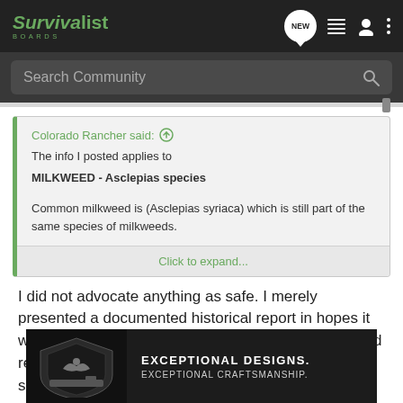Survivalist Boards — navigation bar with NEW button, list icon, user icon, dots icon
Search Community
Colorado Rancher said:
The info I posted applies to
MILKWEED - Asclepias species

Common milkweed is (Asclepias syriaca) which is still part of the same species of milkweeds.
Click to expand...
I did not advocate anything as safe. I merely presented a documented historical report in hopes it would provide food for thought. You on the other hand repeatedly present copies of authorities... document your so... sent
[Figure (photo): Advertisement banner showing a firearm/weapon with text: EXCEPTIONAL DESIGNS. EXCEPTIONAL CRAFTSMANSHIP. Shark Edge logo.]